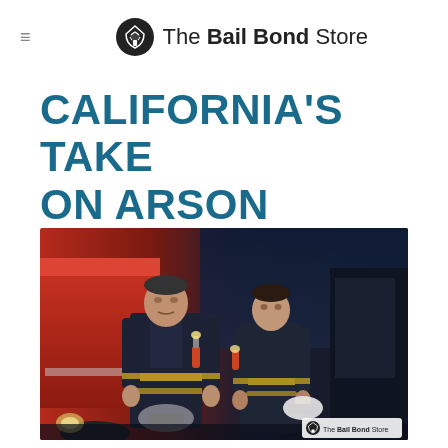The Bail Bond Store
CALIFORNIA'S TAKE ON ARSON
[Figure (photo): Two firefighters in dark uniforms with yellow reflective stripes, standing in front of a red fire truck. One holds a helmet. Dark dramatic lighting. Watermark: The Bail Bond Store logo in bottom right corner.]